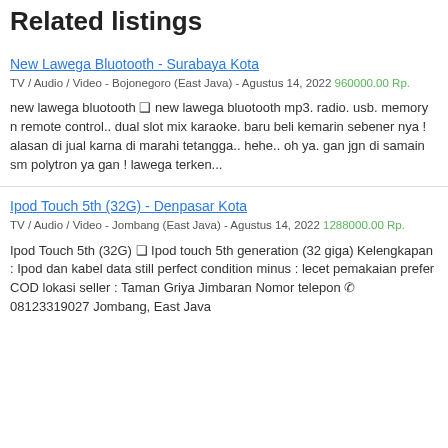Related listings
New Lawega Bluotooth - Surabaya Kota
TV / Audio / Video - Bojonegoro (East Java) - Agustus 14, 2022 960000.00 Rp.
new lawega bluotooth ❑ new lawega bluotooth mp3. radio. usb. memory n remote control.. dual slot mix karaoke. baru beli kemarin sebener nya ! alasan di jual karna di marahi tetangga.. hehe.. oh ya. gan jgn di samain sm polytron ya gan ! lawega terken...
Ipod Touch 5th (32G) - Denpasar Kota
TV / Audio / Video - Jombang (East Java) - Agustus 14, 2022 1288000.00 Rp.
Ipod Touch 5th (32G) ❑ Ipod touch 5th generation (32 giga) Kelengkapan : Ipod dan kabel data still perfect condition minus : lecet pemakaian prefer COD lokasi seller : Taman Griya Jimbaran Nomor telepon ✆ 08123319027 Jombang, East Java